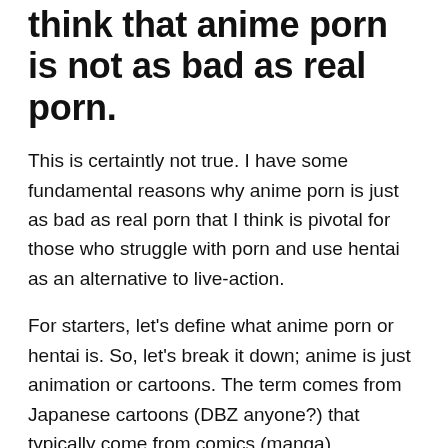think that anime porn is not as bad as real porn.
This is certaintly not true. I have some fundamental reasons why anime porn is just as bad as real porn that I think is pivotal for those who struggle with porn and use hentai as an alternative to live-action.
For starters, let's define what anime porn or hentai is. So, let's break it down; anime is just animation or cartoons. The term comes from Japanese cartoons (DBZ anyone?) that typically come from comics (manga). Essentially, anime would be an animated Batman series based on the Batman comics. Obviously, we know what porn is, so, to put it together, anime porn is animated sex scenes.